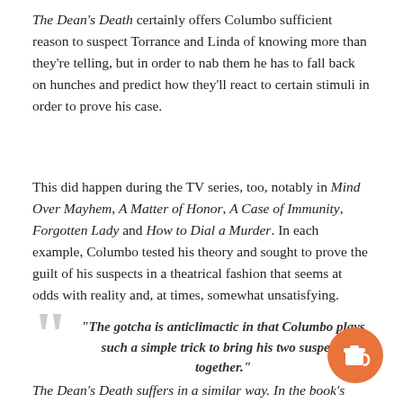The Dean's Death certainly offers Columbo sufficient reason to suspect Torrance and Linda of knowing more than they're telling, but in order to nab them he has to fall back on hunches and predict how they'll react to certain stimuli in order to prove his case.
This did happen during the TV series, too, notably in Mind Over Mayhem, A Matter of Honor, A Case of Immunity, Forgotten Lady and How to Dial a Murder. In each example, Columbo tested his theory and sought to prove the guilt of his suspects in a theatrical fashion that seems at odds with reality and, at times, somewhat unsatisfying.
"The gotcha is anticlimactic in that Columbo plays such a simple trick to bring his two suspects together."
The Dean's Death suffers in a similar way. In the book's closing